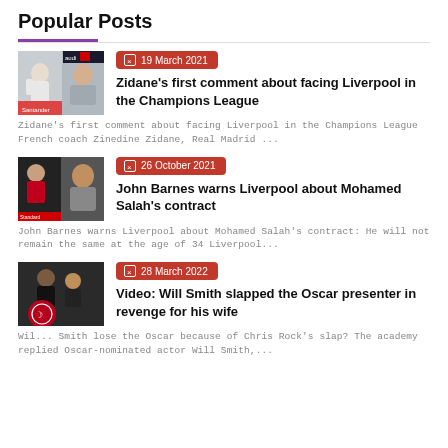Popular Posts
19 March 2021 | Zidane's first comment about facing Liverpool in the Champions League | Zidane's first comment about facing Liverpool in the Champions League French coach Zinedine Zidane, Real Madrid ...
26 October 2021 | John Barnes warns Liverpool about Mohamed Salah's contract | John Barnes warns Liverpool about Mohamed Salah's contract: He will not remain the same at the age of 34 Liverpool...
28 March 2022 | Video: Will Smith slapped the Oscar presenter in revenge for his wife | Will ... Smith lose the Oscar because of Chris Rock's slap? The academy replied Oscar-nominated actor Will Smith,...